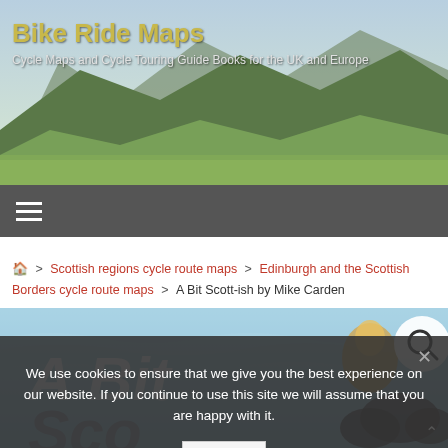Bike Ride Maps
Cycle Maps and Cycle Touring Guide Books for the UK and Europe
[Figure (screenshot): Website navigation bar with hamburger menu icon on dark grey background]
🏠 > Scottish regions cycle route maps > Edinburgh and the Scottish Borders cycle route maps > A Bit Scott-ish by Mike Carden
[Figure (photo): Book cover showing 'A Bit Scott-ish' with illustrated map of Scotland in blue/teal tones, with large white text 'A Bit' and 'Sco...' visible, and a search magnifier icon in top right]
We use cookies to ensure that we give you the best experience on our website. If you continue to use this site we will assume that you are happy with it.